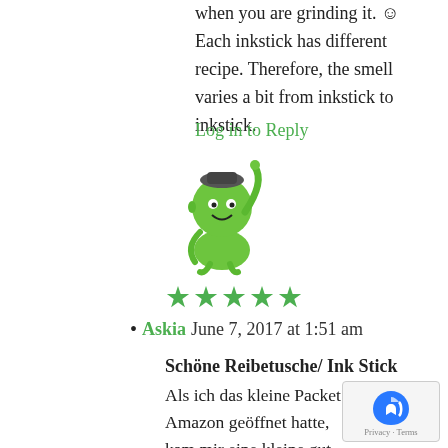when you are grinding it. ☺ Each inkstick has different recipe. Therefore, the smell varies a bit from inkstick to inkstick.
Log in to Reply
[Figure (illustration): Green cartoon character avatar waving]
[Figure (other): Five green star rating]
Askia June 7, 2017 at 1:51 am
Schöne Reibetusche/ Ink Stick
Als ich das kleine Packet von Amazon geöffnet hatte,
kam mir eine kleine gut verschlossene durchsichtige Plastiktüte entgegen in der eine kleine blaue Pappbox und ein kleiner gelber Briefumschlag waren.
Die Pappbox ist mit blauen Leinen überzogen, was